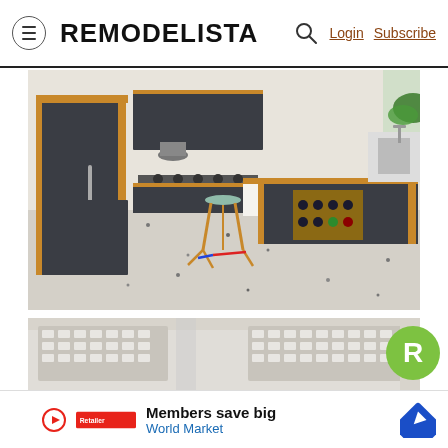REMODELISTA — Login  Subscribe
[Figure (photo): Modern kitchen with dark charcoal flat-front cabinets and warm wood accents on a terrazzo floor. Kitchen island with bar stool, wine bottle rack, and white countertop. Stainless appliances visible.]
[Figure (photo): Interior ceiling view with grid of recessed LED panel lights, white beams, and white walls.]
Members save big
World Market